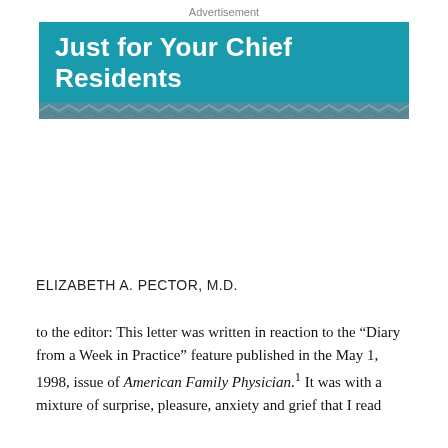Advertisement
[Figure (illustration): Banner graphic with teal background reading 'Just for Your Chief Residents' with a decorative geometric stripe bar below]
ELIZABETH A. PECTOR, M.D.
to the editor: This letter was written in reaction to the "Diary from a Week in Practice" feature published in the May 1, 1998, issue of American Family Physician.1 It was with a mixture of surprise, pleasure, anxiety and grief that I read